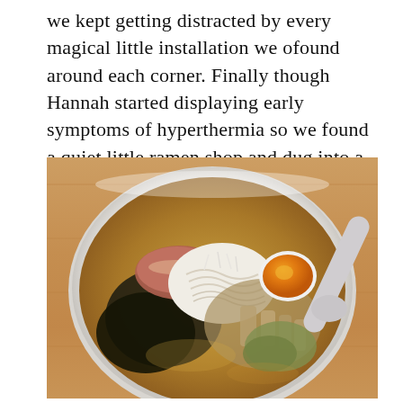we kept getting distracted by every magical little installation we ofound around each corner. Finally though Hannah started displaying early symptoms of hyperthermia so we found a quiet little ramen shop and dug into a bowl about the size of my head. YUM.
[Figure (photo): A white bowl of ramen soup filled with noodles, chashu pork, seaweed, a soft-boiled egg, bamboo shoots, and broth, with a spoon resting on the right side, on a wooden table.]